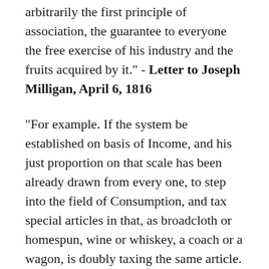arbitrarily the first principle of association, the guarantee to everyone the free exercise of his industry and the fruits acquired by it." - Letter to Joseph Milligan, April 6, 1816
"For example. If the system be established on basis of Income, and his just proportion on that scale has been already drawn from every one, to step into the field of Consumption, and tax special articles in that, as broadcloth or homespun, wine or whiskey, a coach or a wagon, is doubly taxing the same article. For that portion of Income with which these articles are purchased, having already paid its tax as Income, to pay another tax on the thing it purchased, is paying twice for the same thing; it is an aggrievance on the citizens who use these articles in exoneration of those who do not, contrary to the most sacred of the duties of